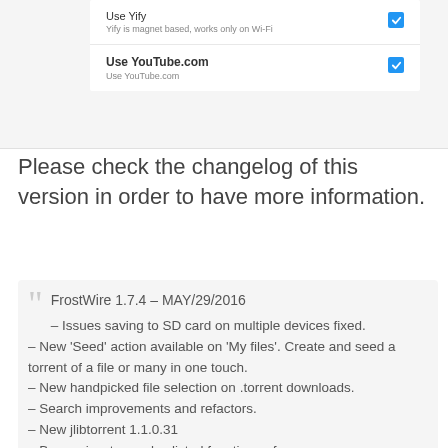[Figure (screenshot): Mobile app settings screenshot showing two toggle items: 'Use Yify' (checked, blue checkbox) with subtitle 'Yify is magnet based, works only on Wi-Fi', and 'Use YouTube.com' (checked, blue checkbox) with subtitle 'Use YouTube.com']
Please check the changelog of this version in order to have more information.
FrostWire 1.7.4 – MAY/29/2016
– Issues saving to SD card on multiple devices fixed.
– New 'Seed' action available on 'My files'. Create and seed a torrent of a file or many in one touch.
– New handpicked file selection on .torrent downloads.
– Search improvements and refactors.
– New jlibtorrent 1.1.0.31
– Bug review to resolve listed functions of...